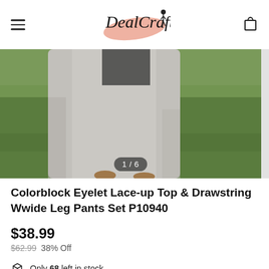DealCrafty
[Figure (photo): Product photo showing gray wide-leg pants/clothing set on grass background, image 1 of 6]
Colorblock Eyelet Lace-up Top & Drawstring Wwide Leg Pants Set P10940
$38.99
$62.99  38% Off
Only 68 left in stock
13 people are viewing this right now
Get it between Sep 08 - Sep 19